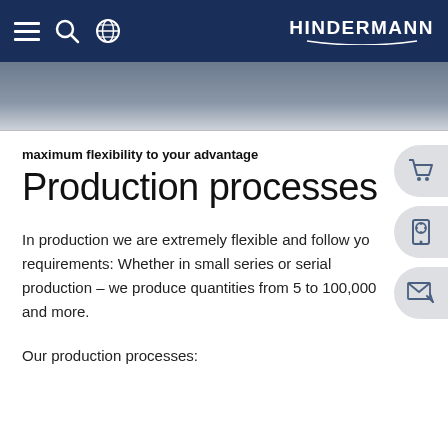HINDERMANN
[Figure (screenshot): Partial photograph visible beneath navigation bar, dark and gray tones]
maximum flexibility to your advantage
Production processes
In production we are extremely flexible and follow your requirements: Whether in small series or serial production – we produce quantities from 5 to 100,000 and more.
Our production processes: